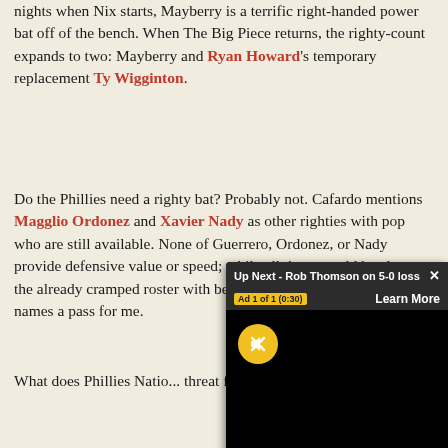nights when Nix starts, Mayberry is a terrific right-handed power bat off of the bench. When The Big Piece returns, the righty-count expands to two: Mayberry and Ryan Howard's temporary replacement Ty Wigginton.
Do the Phillies need a righty bat? Probably not. Cafardo mentions Magglio Ordonez and Xavier Nady as other righties with pop who are still available. None of Guerrero, Ordonez, or Nady provide defensive value or speed; while all three would be cheap, the already cramped roster with better candidates makes these three names a pass for me.
What does Phillies Natio... threat for the bench befo...
[Figure (screenshot): Video overlay widget showing 'Up Next - Rob Thomson on 5-0 loss' with Ad 1 of 1 (0:30), Learn More button, a yellow mute button on black video background.]